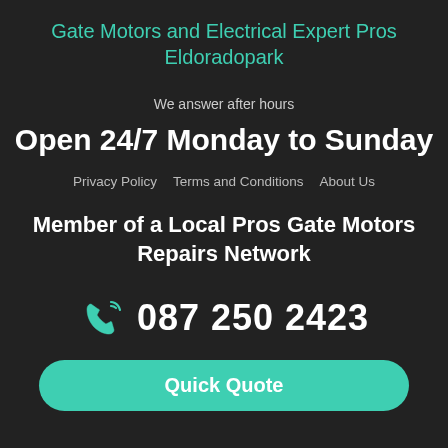Gate Motors and Electrical Expert Pros Eldoradopark
We answer after hours
Open 24/7 Monday to Sunday
Privacy Policy   Terms and Conditions   About Us
Member of a Local Pros Gate Motors Repairs Network
087 250 2423
Quick Quote